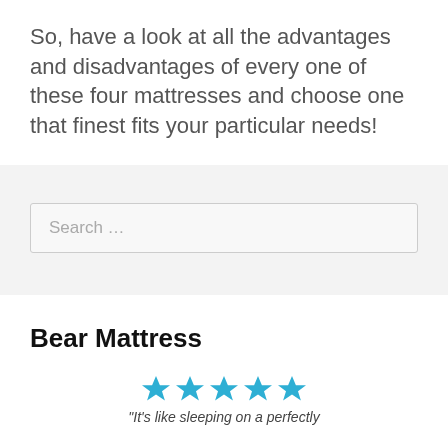So, have a look at all the advantages and disadvantages of every one of these four mattresses and choose one that finest fits your particular needs!
[Figure (other): Search input box with placeholder text 'Search ...']
Bear Mattress
[Figure (other): Five blue star rating icons followed by quote text: "It's like sleeping on a perfectly]